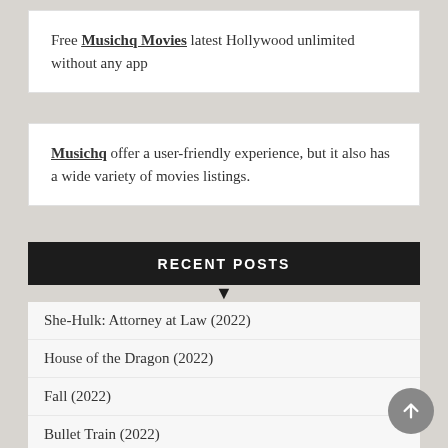Free Musichq Movies latest Hollywood unlimited without any app
Musichq offer a user-friendly experience, but it also has a wide variety of movies listings.
RECENT POSTS
She-Hulk: Attorney at Law (2022)
House of the Dragon (2022)
Fall (2022)
Bullet Train (2022)